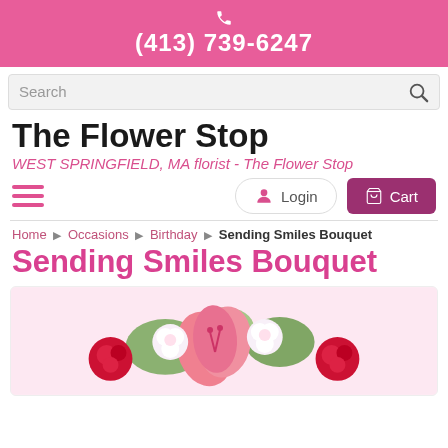(413) 739-6247
Search
The Flower Stop
WEST SPRINGFIELD, MA florist - The Flower Stop
Login  Cart
Home › Occasions › Birthday › Sending Smiles Bouquet
Sending Smiles Bouquet
[Figure (photo): A floral bouquet with pink lilies, red roses, and white flowers photographed from above on a light background.]